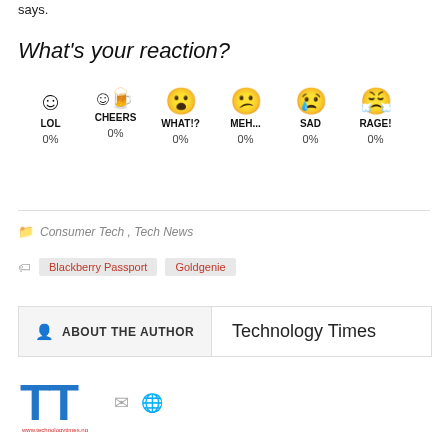says.
What's your reaction?
[Figure (infographic): Reaction icons row: LOL 0%, CHEERS 0%, WHAT!? 0%, MEH... 0%, SAD 0%, RAGE! 0%]
Consumer Tech, Tech News
Blackberry Passport
Goldgenie
ABOUT THE AUTHOR   Technology Times
[Figure (logo): Technology Times TT logo in blue and red]